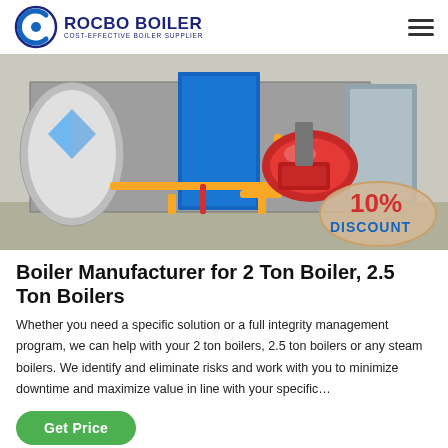ROCBO BOILER — COST-EFFECTIVE BOILER SUPPLIER
[Figure (photo): Industrial boiler installation showing large blue boiler unit with red burner and yellow pipes, with a 10% DISCOUNT badge overlay in the bottom right corner.]
Boiler Manufacturer for 2 Ton Boiler, 2.5 Ton Boilers
Whether you need a specific solution or a full integrity management program, we can help with your 2 ton boilers, 2.5 ton boilers or any steam boilers. We identify and eliminate risks and work with you to minimize downtime and maximize value in line with your specific…